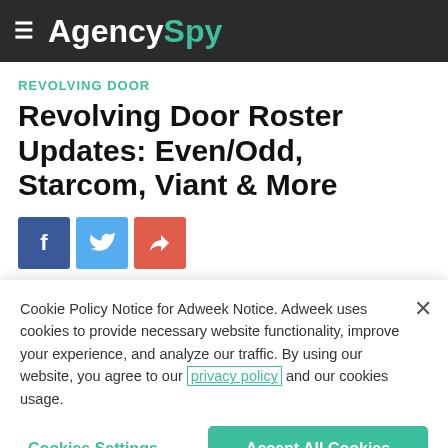AgencySpy
REVOLVING DOOR
Revolving Door Roster Updates: Even/Odd, Starcom, Viant & More
[Figure (other): Social share buttons: Facebook, Twitter, Share]
Cookie Policy Notice for Adweek Notice. Adweek uses cookies to provide necessary website functionality, improve your experience, and analyze our traffic. By using our website, you agree to our privacy policy and our cookies usage.
Cookies Settings | Accept All Cookies